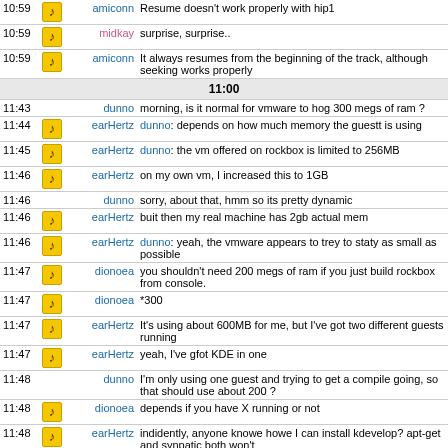| Time | Icon | Name | Message |
| --- | --- | --- | --- |
| 10:59 | icon | amiconn | Resume doesn't work properly with hip1 |
| 10:59 | icon | midkay | surprise, surprise.. |
| 10:59 | icon | amiconn | It always resumes from the beginning of the track, although seeking works properly |
| 11:00 |  |  |  |
| 11:43 |  | dunno | morning, is it normal for vmware to hog 300 megs of ram ? |
| 11:44 | icon | earHertz | dunno: depends on how much memory the guestt is using |
| 11:45 | icon | earHertz | dunno: the vm offered on rockbox is limited to 256MB |
| 11:46 | icon | earHertz | on my own vm, I increased this to 1GB |
| 11:46 |  | dunno | sorry, about that, hmm so its pretty dynamic |
| 11:46 | icon | earHertz | buit then my real machine has 2gb actual mem |
| 11:46 | icon | earHertz | dunno: yeah, the vmware appears to trey to staty as small as possible |
| 11:47 | icon | dionoea | you shouldn't need 200 megs of ram if you just build rockbox from console. |
| 11:47 | icon | dionoea | *300 |
| 11:47 | icon | earHertz | It's using about 600MB for me, but I've got two different guests running |
| 11:47 | icon | earHertz | yeah, I've gfot KDE in one |
| 11:48 |  | dunno | I'm only using one guest and trying to get a compile going, so that should use about 200 ? |
| 11:48 | icon | dionoea | depends if you have X running or not |
| 11:48 | icon | earHertz | indidently, anyone knowe howe I can install kdevelop? apt-get and synpatic both won't |
| 11:48 |  | dunno | maybe I've borked the installation somewhere |